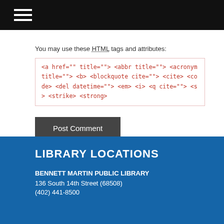You may use these HTML tags and attributes:
<a href="" title=""> <abbr title=""> <acronym title=""> <b> <blockquote cite=""> <cite> <code> <del datetime=""> <em> <i> <q cite=""> <s> <strike> <strong>
Post Comment
LIBRARY LOCATIONS
BENNETT MARTIN PUBLIC LIBRARY
136 South 14th Street (68508)
(402) 441-8500